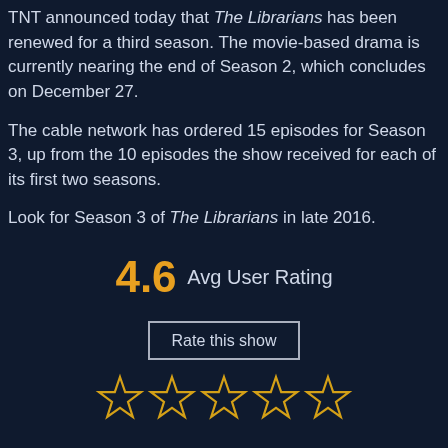TNT announced today that The Librarians has been renewed for a third season. The movie-based drama is currently nearing the end of Season 2, which concludes on December 27.
The cable network has ordered 15 episodes for Season 3, up from the 10 episodes the show received for each of its first two seasons.
Look for Season 3 of The Librarians in late 2016.
4.6 Avg User Rating
Rate this show
[Figure (other): Five empty star rating icons in gold/yellow outline]